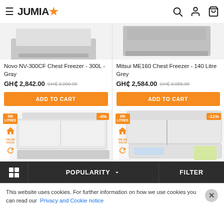JUMIA
[Figure (screenshot): Novo NV-300CF Chest Freezer product card with image (top partially cut off), name, price GH₵ 2,842.00 (was GH₵ 3,000.00), and ADD TO CART button]
[Figure (screenshot): Mitsui ME160 Chest Freezer - 140 Litre Grey product card with image (top partially cut off), name, price GH₵ 2,584.00 (was GH₵ 3,055.00), and ADD TO CART button]
[Figure (photo): Bottom-left product card showing a chest freezer (308 Litres) with -4% discount badge and product icons]
[Figure (photo): Bottom-right product card showing a chest freezer (268 Litres) with -11% discount badge and product icons]
This website uses cookies. For further information on how we use cookies you can read our Privacy and Cookie notice